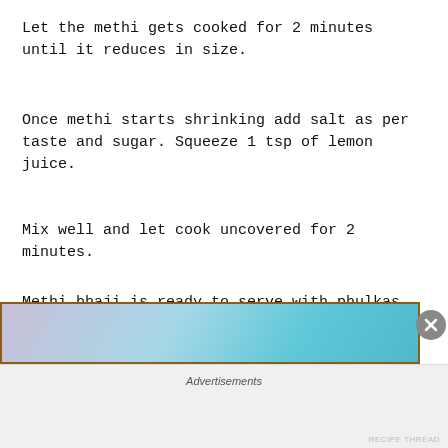Let the methi gets cooked for 2 minutes until it reduces in size.
Once methi starts shrinking add salt as per taste and sugar. Squeeze 1 tsp of lemon juice.
Mix well and let cook uncovered for 2 minutes.
Methi bhaji is ready to serve with phulkas, chapati or rice.
[Figure (photo): Partial view of a food photograph with bluish-purple tones, framed with a brown border, partially visible at the bottom of the page.]
Advertisements